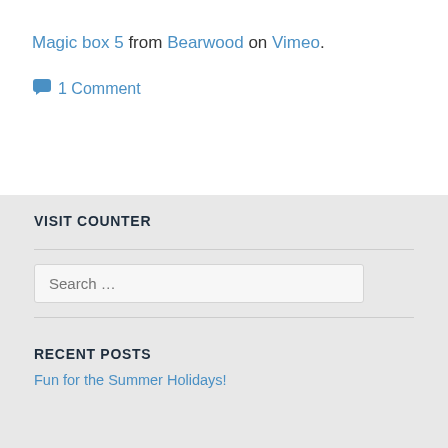Magic box 5 from Bearwood on Vimeo.
1 Comment
VISIT COUNTER
Search ...
RECENT POSTS
Fun for the Summer Holidays!